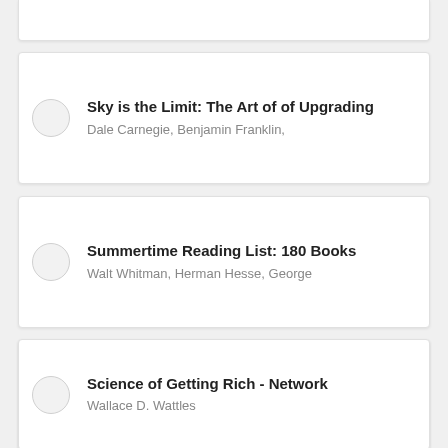Sky is the Limit: The Art of of Upgrading
Dale Carnegie, Benjamin Franklin,
Summertime Reading List: 180 Books
Walt Whitman, Herman Hesse, George
Prosperity Super Pack #1
Napoleon Hill, P. T. Barnum, James Allen,
Science of Getting Rich - Network
Wallace D. Wattles